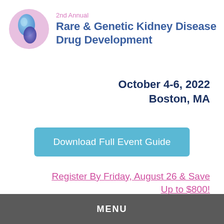[Figure (logo): Circular logo with blue and pink gradient swirl design for Rare & Genetic Kidney Disease Drug Development conference]
2nd Annual Rare & Genetic Kidney Disease Drug Development
October 4-6, 2022 Boston, MA
Download Full Event Guide
Register By Friday, August 26 & Save Up to $800!
MENU